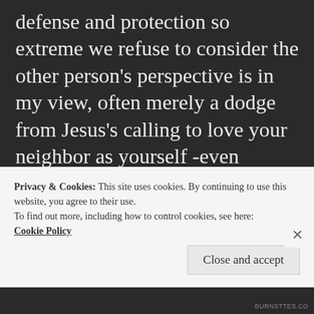defense and protection so extreme we refuse to consider the other person's perspective is in my view, often merely a dodge from Jesus's calling to love your neighbor as yourself -even though you may vehemently disagree with them.

I write all this to give background for the following. If it sounds like I'm
Privacy & Cookies: This site uses cookies. By continuing to use this website, you agree to their use.
To find out more, including how to control cookies, see here:
Cookie Policy
Close and accept
BURNSTTES.CO